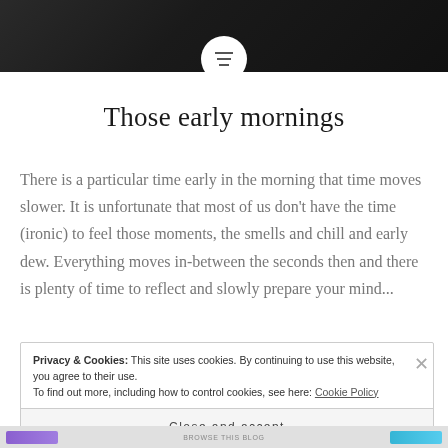[Figure (photo): Dark header image of what appears to be food or a dark surface, with a circular menu/hamburger button centered at the bottom of the image]
Those early mornings
There is a particular time early in the morning that time moves slower. It is unfortunate that most of us don't have the time (ironic) to feel those moments, the smells and chill and early dew. Everything moves in-between the seconds then and there is plenty of time to reflect and slowly prepare your mind...
Privacy & Cookies: This site uses cookies. By continuing to use this website, you agree to their use.
To find out more, including how to control cookies, see here: Cookie Policy
Close and accept
BROWSE THIS BLOG